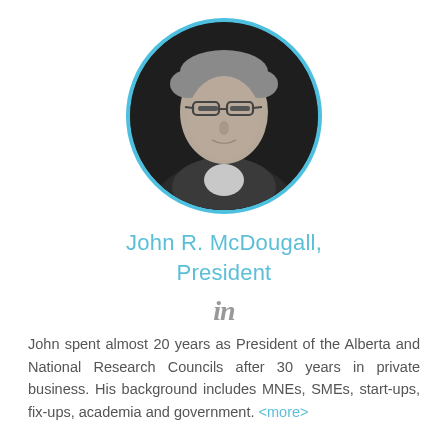[Figure (photo): Black and white circular portrait photo of John R. McDougall, a man with grey hair wearing glasses, with a blue circular border]
John R. McDougall,
President
[Figure (logo): LinkedIn 'in' icon in grey]
John spent almost 20 years as President of the Alberta and National Research Councils after 30 years in private business. His background includes MNEs, SMEs, start-ups, fix-ups, academia and government. <more>